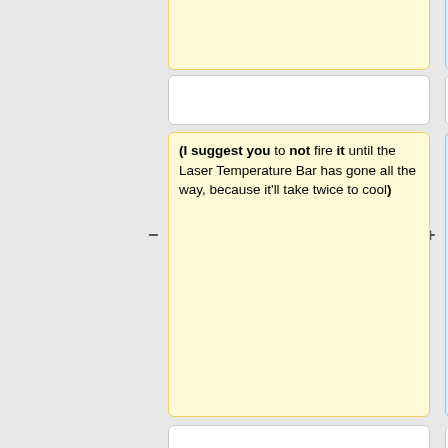once and then, after 8 seconds, fire again.
every 8 seconds.
(I suggest you to not fire it until the Laser Temperature Bar has gone all the way, because it'll take twice to cool)
It is suggested not to fire the Thargoid Plasma Accelerator until the Laser Temperature Bar has gone all the way, because otherwise it'll take twice as much time to cool.
== Availability ==
== Availability ==
The Thargoid Laser can be bought at tech level 14 systems for 500.0 Cr.
* The Thargoid Laser can be bought at tech level 14 systems for 500.0 Cr.